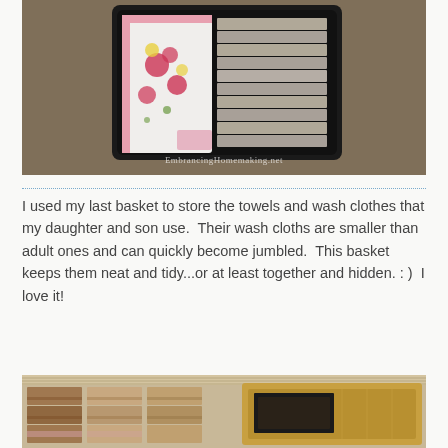[Figure (photo): Photo of a dark basket/tray containing neatly folded children's cloths with pink floral pattern and stacked gray/beige towels, watermark reading EmbrancingHomemaking.net]
I used my last basket to store the towels and wash clothes that my daughter and son use.  Their wash cloths are smaller than adult ones and can quickly become jumbled.  This basket keeps them neat and tidy...or at least together and hidden. : )  I love it!
[Figure (photo): Photo of a linen closet shelf showing neatly folded brown/tan towels arranged in rows beside a decorative box/basket with dark frame detail]